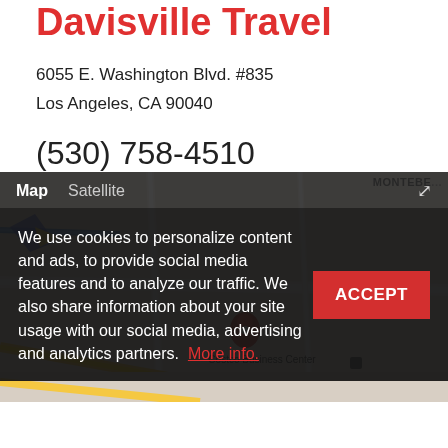Davisville Travel
6055 E. Washington Blvd. #835
Los Angeles, CA 90040
(530) 758-4510
[Figure (map): Google Maps embed showing the location near Costco Business Center in Los Angeles, CA, with map/satellite tabs and a cookie consent overlay. Labels visible include MONTEBELLO and Costco Business Center.]
We use cookies to personalize content and ads, to provide social media features and to analyze our traffic. We also share information about your site usage with our social media, advertising and analytics partners.  More info.